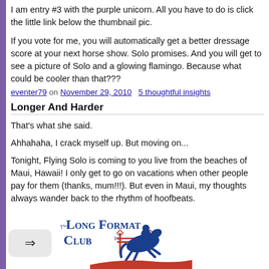I am entry #3 with the purple unicorn. All you have to do is click the little link below the thumbnail pic.
If you vote for me, you will automatically get a better dressage score at your next horse show. Solo promises. And you will get to see a picture of Solo and a glowing flamingo. Because what could be cooler than that???
eventer79 on November 29, 2010   5 thoughtful insights
Longer And Harder
That's what she said.
Ahhahaha, I crack myself up. But moving on...
Tonight, Flying Solo is coming to you live from the beaches of Maui, Hawaii! I only get to go on vacations when other people pay for them (thanks, mum!!!). But even in Maui, my thoughts always wander back to the rhythm of hoofbeats.
[Figure (logo): The Long Format Club Inc. logo with blue text and a red and blue horse-and-rider jumping illustration]